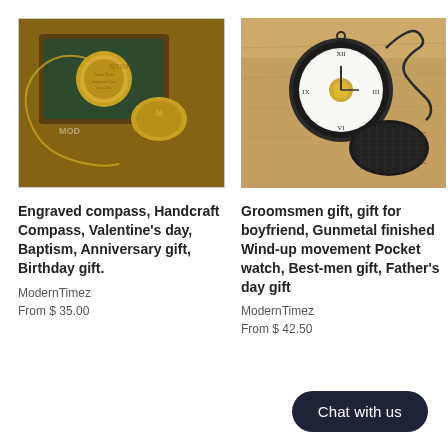[Figure (photo): Gold engraved compass in a wooden box with chain, watermark ModernTimez]
[Figure (photo): Gunmetal finished pocket watch open on a wooden surface with chain]
Engraved compass, Handcraft Compass, Valentine’s day, Baptism, Anniversary gift, Birthday gift.
ModernTimez
From $ 35.00
Groomsmen gift, gift for boyfriend, Gunmetal finished Wind-up movement Pocket watch, Best-men gift, Father’s day gift
ModernTimez
From $ 42.50
Chat with us